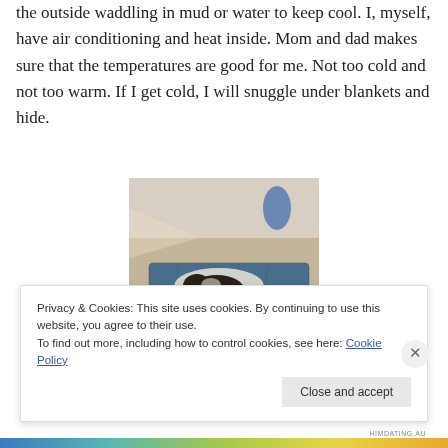the outside waddling in mud or water to keep cool. I, myself, have air conditioning and heat inside. Mom and dad makes sure that the temperatures are good for me. Not too cold and not too warm. If I get cold, I will snuggle under blankets and hide.
[Figure (photo): A small dark animal (likely a guinea pig or small pet) resting on a blue patterned blanket on the floor]
Privacy & Cookies: This site uses cookies. By continuing to use this website, you agree to their use.
To find out more, including how to control cookies, see here: Cookie Policy